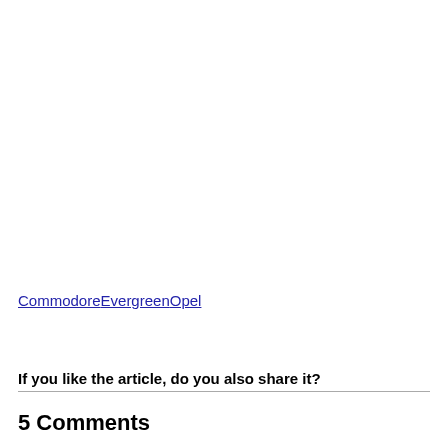CommodoreEvergreenOpel
If you like the article, do you also share it?
5 Comments